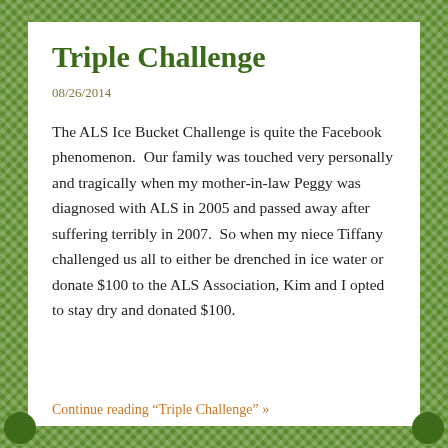Triple Challenge
08/26/2014
The ALS Ice Bucket Challenge is quite the Facebook phenomenon.  Our family was touched very personally and tragically when my mother-in-law Peggy was diagnosed with ALS in 2005 and passed away after suffering terribly in 2007.  So when my niece Tiffany challenged us all to either be drenched in ice water or donate $100 to the ALS Association, Kim and I opted to stay dry and donated $100.
Continue reading "Triple Challenge" »